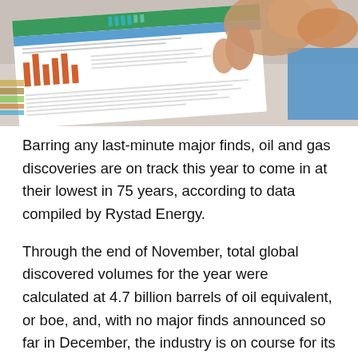[Figure (photo): Photo of hands pointing at a financial document/chart with bar charts and tabular data visible on paper]
Barring any last-minute major finds, oil and gas discoveries are on track this year to come in at their lowest in 75 years, according to data compiled by Rystad Energy.
Through the end of November, total global discovered volumes for the year were calculated at 4.7 billion barrels of oil equivalent, or boe, and, with no major finds announced so far in December, the industry is on course for its worst discoveries toll since 1946, the energy research company said in a Monday note. The figure would also represent a considerable drop from the 12.5 billion boe discovered in 2020.